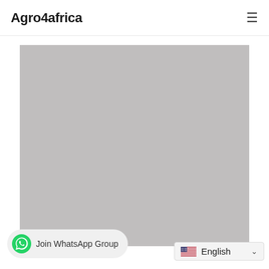Agro4africa
[Figure (photo): Large gray placeholder image area occupying most of the page below the header]
[Figure (other): Join WhatsApp Group button with green WhatsApp icon]
[Figure (other): English language selector with US flag and dropdown chevron]